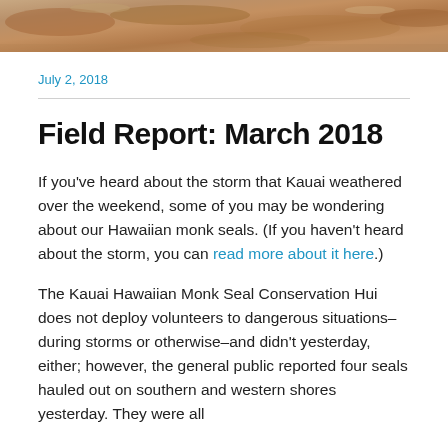[Figure (photo): Close-up photo of rocky/sandy terrain, brown and tan earthy tones, serving as a banner image at the top of the page.]
July 2, 2018
Field Report: March 2018
If you've heard about the storm that Kauai weathered over the weekend, some of you may be wondering about our Hawaiian monk seals. (If you haven't heard about the storm, you can read more about it here.)
The Kauai Hawaiian Monk Seal Conservation Hui does not deploy volunteers to dangerous situations–during storms or otherwise–and didn't yesterday, either; however, the general public reported four seals hauled out on southern and western shores yesterday. They were all